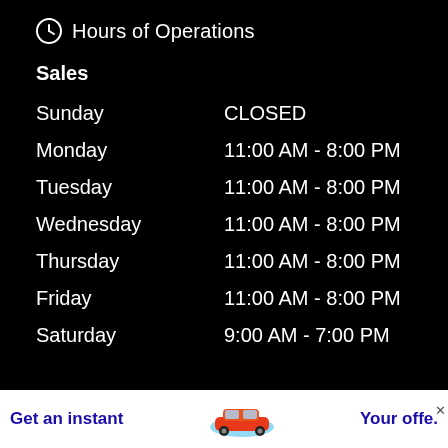Hours of Operations
Sales
| Day | Hours |
| --- | --- |
| Sunday | CLOSED |
| Monday | 11:00 AM - 8:00 PM |
| Tuesday | 11:00 AM - 8:00 PM |
| Wednesday | 11:00 AM - 8:00 PM |
| Thursday | 11:00 AM - 8:00 PM |
| Friday | 11:00 AM - 8:00 PM |
| Saturday | 9:00 AM - 7:00 PM |
Get an instant   Your offe.